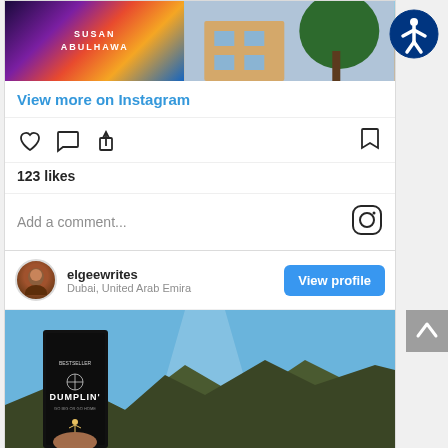[Figure (screenshot): Instagram post showing a book cover (Susan Abulhawa) on the left half and a building/tree on the right half]
View more on Instagram
[Figure (illustration): Instagram action icons: heart (like), speech bubble (comment), share arrow, and bookmark]
123 likes
Add a comment...
[Figure (illustration): Instagram logo icon]
[Figure (screenshot): Instagram post card for user elgeewrites from Dubai, United Arab Emira, showing a book (Dumplin') held against a mountain and sky background]
elgeewrites
Dubai, United Arab Emira
View profile
[Figure (photo): A person holding a Kindle/tablet displaying the book 'Dumplin'' against a scenic mountain and blue sky background]
[Figure (illustration): Accessibility icon - person inside a circle, top right corner]
[Figure (illustration): Scroll up button - grey square with upward arrow, right side]